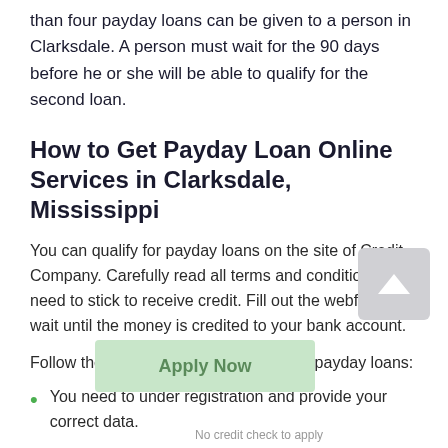than four payday loans can be given to a person in Clarksdale. A person must wait for the 90 days before he or she will be able to qualify for the second loan.
How to Get Payday Loan Online Services in Clarksdale, Mississippi
You can qualify for payday loans on the site of Credit Company. Carefully read all terms and conditions you need to stick to receive credit. Fill out the webform and wait until the money is credited to your bank account.
Follow these steps to receive your easy payday loans:
You need to under registration and provide your correct data.
You must provide a correct phone number. You need to do this because you will get a call from the company to which you sent the credit request in Clarksdale in